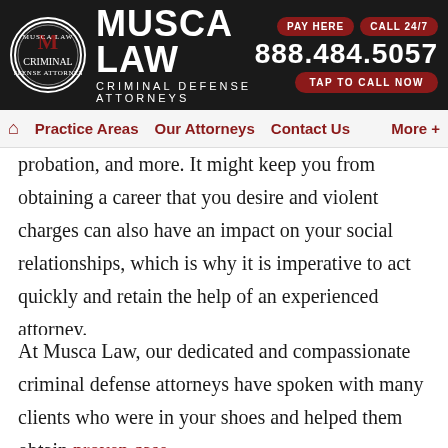[Figure (logo): Musca Law logo with circular emblem and text 'MUSCA LAW CRIMINAL DEFENSE ATTORNEYS', phone number 888.484.5057, PAY HERE and CALL 24/7 buttons, TAP TO CALL NOW button]
Practice Areas  Our Attorneys  Contact Us  More +
probation, and more. It might keep you from obtaining a career that you desire and violent charges can also have an impact on your social relationships, which is why it is imperative to act quickly and retain the help of an experienced attorney.
At Musca Law, our dedicated and compassionate criminal defense attorneys have spoken with many clients who were in your shoes and helped them obtain proven case